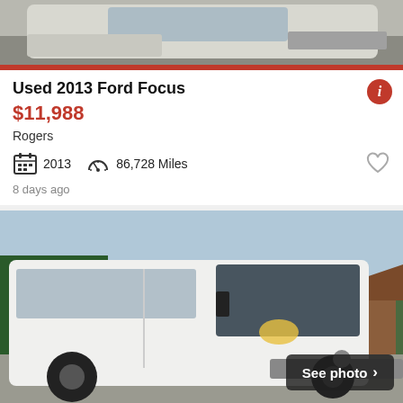[Figure (photo): Top portion of a used Ford Focus car listing photo, showing front of silver/white car]
Used 2013 Ford Focus
$11,988
Rogers
2013   86,728 Miles
8 days ago
[Figure (photo): White Ram ProMaster cargo van parked on gravel driveway with residential house in background, with 'See photo' overlay badge]
2017 Ram ProMaster